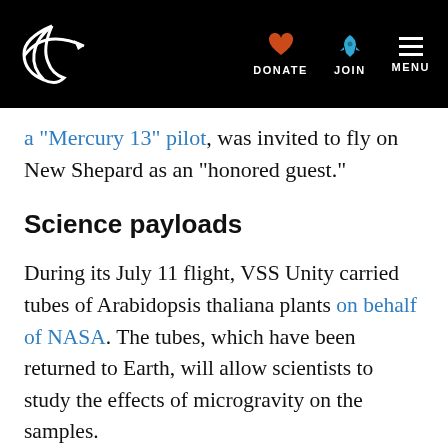Planetary Society navigation bar with logo, DONATE, JOIN, MENU
a “Mercury 13” pilot, was invited to fly on New Shepard as an “honored guest.”
Science payloads
During its July 11 flight, VSS Unity carried tubes of Arabidopsis thaliana plants on behalf of NASA. The tubes, which have been returned to Earth, will allow scientists to study the effects of microgravity on the samples.
It’s unclear whether New Shepard will carry